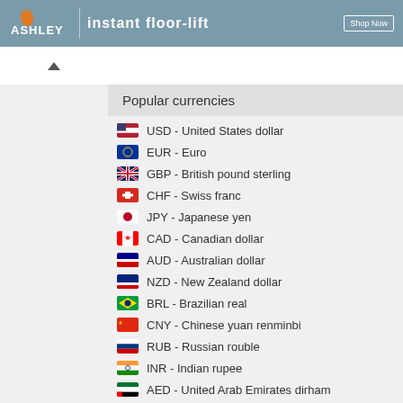[Figure (screenshot): Banner advertisement for Ashley flooring with logo, tagline 'instant floor-lift' and Shop Now button on blue-gray background]
Popular currencies
USD - United States dollar
EUR - Euro
GBP - British pound sterling
CHF - Swiss franc
JPY - Japanese yen
CAD - Canadian dollar
AUD - Australian dollar
NZD - New Zealand dollar
BRL - Brazilian real
CNY - Chinese yuan renminbi
RUB - Russian rouble
INR - Indian rupee
AED - United Arab Emirates dirham
HKD - Hong Kong dollar